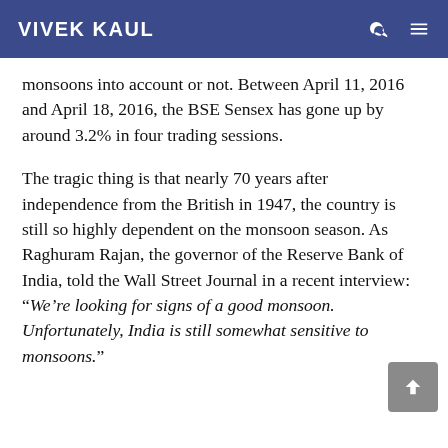VIVEK KAUL
monsoons into account or not. Between April 11, 2016 and April 18, 2016, the BSE Sensex has gone up by around 3.2% in four trading sessions.
The tragic thing is that nearly 70 years after independence from the British in 1947, the country is still so highly dependent on the monsoon season. As Raghuram Rajan, the governor of the Reserve Bank of India, told the Wall Street Journal in a recent interview: “We’re looking for signs of a good monsoon. Unfortunately, India is still somewhat sensitive to monsoons.”